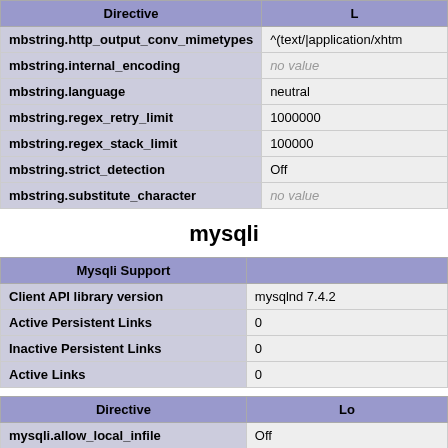| Directive | L... |
| --- | --- |
| mbstring.http_output_conv_mimetypes | ^(text/|application/xhtm... |
| mbstring.internal_encoding | no value |
| mbstring.language | neutral |
| mbstring.regex_retry_limit | 1000000 |
| mbstring.regex_stack_limit | 100000 |
| mbstring.strict_detection | Off |
| mbstring.substitute_character | no value |
mysqli
| Mysqli Support |  |
| --- | --- |
| Client API library version | mysqlnd 7.4.2 |
| Active Persistent Links | 0 |
| Inactive Persistent Links | 0 |
| Active Links | 0 |
| Directive | Lo... |
| --- | --- |
| mysqli.allow_local_infile | Off |
| mysqli.allow_persistent | On |